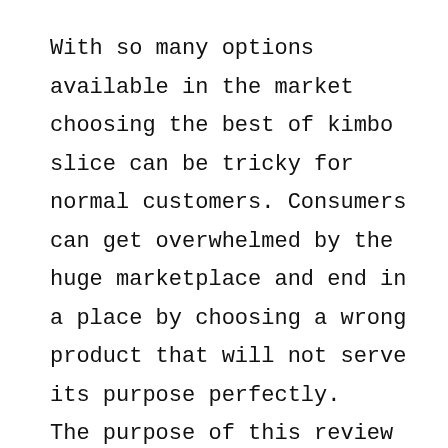With so many options available in the market choosing the best of kimbo slice can be tricky for normal customers. Consumers can get overwhelmed by the huge marketplace and end in a place by choosing a wrong product that will not serve its purpose perfectly. The purpose of this review is to avoid misunderstanding and help the customer with a shortlist of the most popular products of the marketplace by analyzing the features,